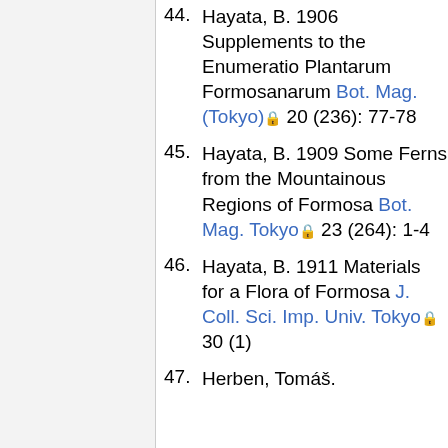44. Hayata, B. 1906 Supplements to the Enumeratio Plantarum Formosanarum Bot. Mag. (Tokyo) 20 (236): 77-78
45. Hayata, B. 1909 Some Ferns from the Mountainous Regions of Formosa Bot. Mag. Tokyo 23 (264): 1-4
46. Hayata, B. 1911 Materials for a Flora of Formosa J. Coll. Sci. Imp. Univ. Tokyo 30 (1)
47. Herben, Tomáš.